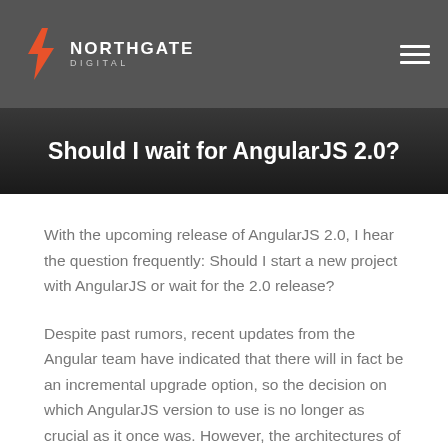NORTHGATE DIGITAL
Should I wait for AngularJS 2.0?
With the upcoming release of AngularJS 2.0, I hear the question frequently: Should I start a new project with AngularJS or wait for the 2.0 release?
Despite past rumors, recent updates from the Angular team have indicated that there will in fact be an incremental upgrade option, so the decision on which AngularJS version to use is no longer as crucial as it once was. However, the architectures of the two frameworks are significantly different and there are still some important considerations